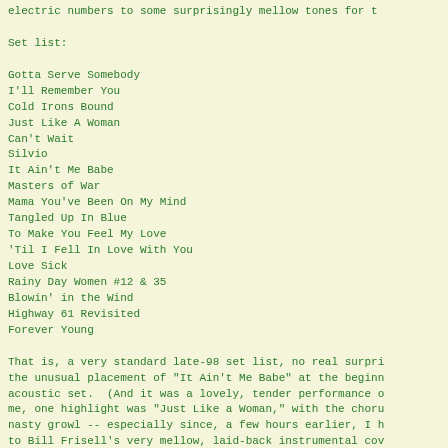electric numbers to some surprisingly mellow tones for t
Set list:
Gotta Serve Somebody
I'll Remember You
Cold Irons Bound
Just Like A Woman
Can't Wait
Silvio
It Ain't Me Babe
Masters of War
Mama You've Been On My Mind
Tangled Up In Blue
To Make You Feel My Love
'Til I Fell In Love With You
Love Sick
Rainy Day Women #12 & 35
Blowin' in the Wind
Highway 61 Revisited
Forever Young
That is, a very standard late-98 set list, no real surpri the unusual placement of "It Ain't Me Babe" at the beginn acoustic set.  (And it was a lovely, tender performance o me, one highlight was "Just Like a Woman," with the choru nasty growl -- especially since, a few hours earlier, I h to Bill Frisell's very mellow, laid-back instrumental cov "Have a Little Faith," courtesy of my friend Doug Barbour delighted with "Mama," which I'd never heard live before